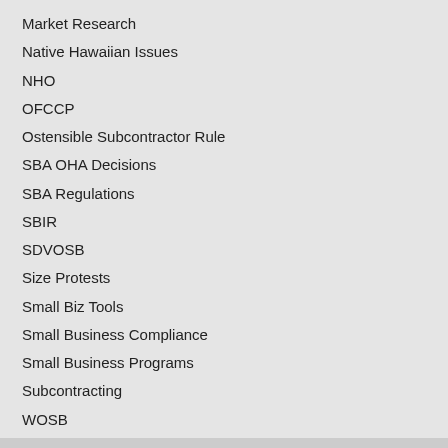Market Research
Native Hawaiian Issues
NHO
OFCCP
Ostensible Subcontractor Rule
SBA OHA Decisions
SBA Regulations
SBIR
SDVOSB
Size Protests
Small Biz Tools
Small Business Compliance
Small Business Programs
Subcontracting
WOSB